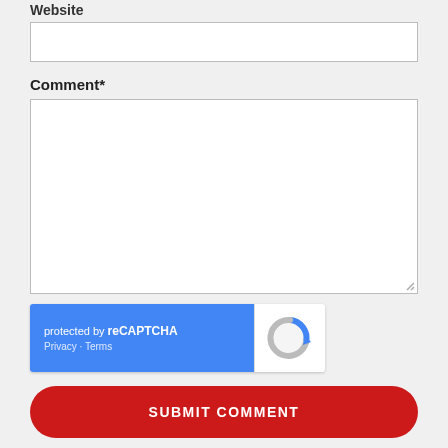Website
[Figure (screenshot): Small single-line text input field for website URL]
Comment*
[Figure (screenshot): Large multi-line textarea for comment input]
[Figure (screenshot): reCAPTCHA widget: blue left panel with 'protected by reCAPTCHA' text and Privacy - Terms links; white right panel with reCAPTCHA logo]
[Figure (screenshot): Red rounded SUBMIT COMMENT button]